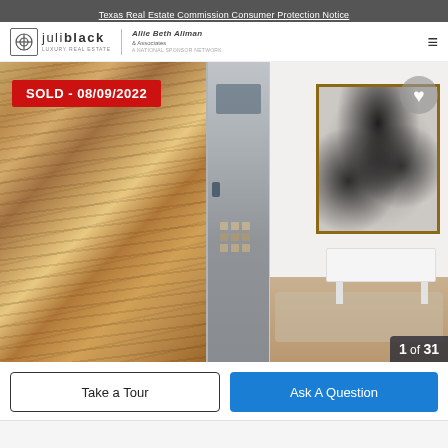Texas Real Estate Commission Consumer Protection Notice
[Figure (logo): Juli Black Luxury Real Estate logo with Allie Beth Allman & Associates branding]
[Figure (photo): Interior photo showing a luxury elevator with marble stone wall paneling on the left, stainless steel elevator doors in the center, and a hallway with abstract black and white artwork and a white bench on the right. A red SOLD badge reads SOLD - 08/09/2022 in the upper left. A heart/favorite button is in the upper right.]
1 of 31
Take a Tour
Ask A Question